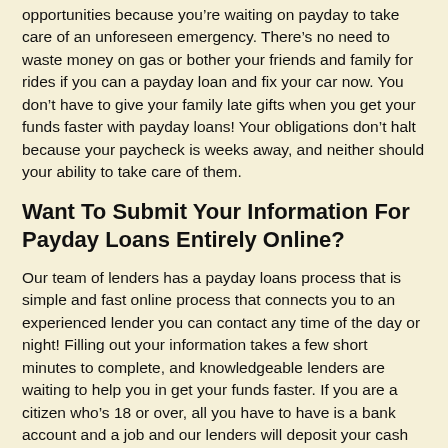opportunities because you're waiting on payday to take care of an unforeseen emergency. There's no need to waste money on gas or bother your friends and family for rides if you can a payday loan and fix your car now. You don't have to give your family late gifts when you get your funds faster with payday loans! Your obligations don't halt because your paycheck is weeks away, and neither should your ability to take care of them.
Want To Submit Your Information For Payday Loans Entirely Online?
Our team of lenders has a payday loans process that is simple and fast online process that connects you to an experienced lender you can contact any time of the day or night! Filling out your information takes a few short minutes to complete, and knowledgeable lenders are waiting to help you in get your funds faster. If you are a citizen who's 18 or over, all you have to have is a bank account and a job and our lenders will deposit your cash into your account once you're approved. That's all there is to the payday loan process, no extended approval requirements, just the funds